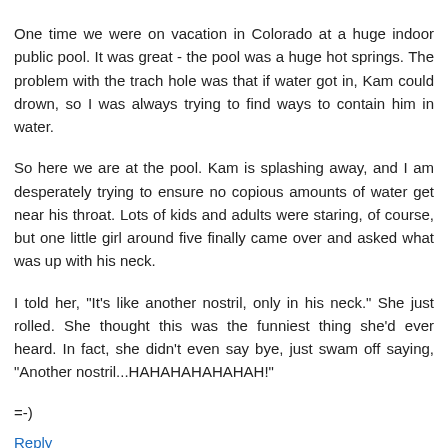One time we were on vacation in Colorado at a huge indoor public pool. It was great - the pool was a huge hot springs. The problem with the trach hole was that if water got in, Kam could drown, so I was always trying to find ways to contain him in water.
So here we are at the pool. Kam is splashing away, and I am desperately trying to ensure no copious amounts of water get near his throat. Lots of kids and adults were staring, of course, but one little girl around five finally came over and asked what was up with his neck.
I told her, "It's like another nostril, only in his neck." She just rolled. She thought this was the funniest thing she'd ever heard. In fact, she didn't even say bye, just swam off saying, "Another nostril...HAHAHAHAHAHAH!"
=-)
Reply